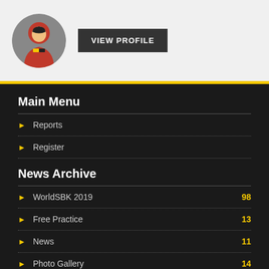[Figure (photo): Circular avatar photo of a motorcycle racer in red racing gear]
VIEW PROFILE
Main Menu
Reports
Register
News Archive
WorldSBK 2019 98
Free Practice 13
News 11
Photo Gallery 14
Preview 12